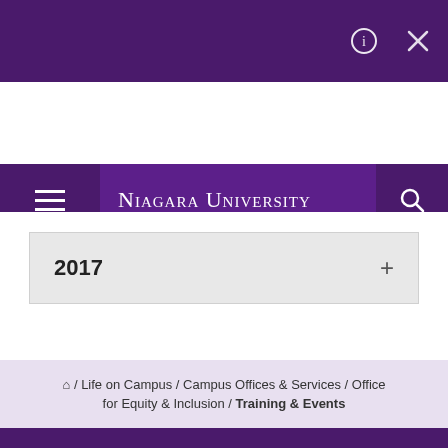[Figure (screenshot): Top dark purple bar with info circle icon and X close icon]
NIAGARA UNIVERSITY
Office for Equity & Inclusion
2017   +
🏠 / Life on Campus / Campus Offices & Services / Office for Equity & Inclusion / Training & Events
[Figure (logo): Niagara University shield logo with text NIAGARA UNIVERSITY in white on purple background]